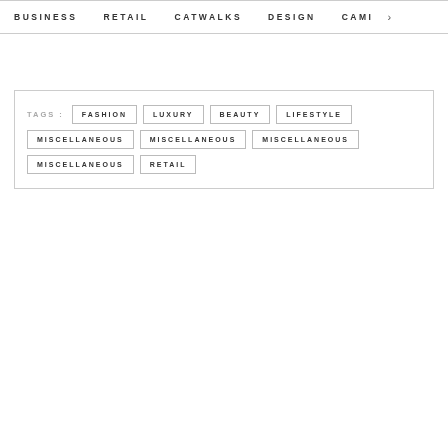BUSINESS  RETAIL  CATWALKS  DESIGN  CAMI  >
TAGS : FASHION  LUXURY  BEAUTY  LIFESTYLE  MISCELLANEOUS  MISCELLANEOUS  MISCELLANEOUS  MISCELLANEOUS  RETAIL